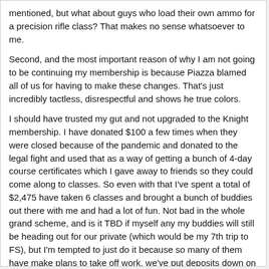mentioned, but what about guys who load their own ammo for a precision rifle class? That makes no sense whatsoever to me.
Second, and the most important reason of why I am not going to be continuing my membership is because Piazza blamed all of us for having to make these changes. That's just incredibly tactless, disrespectful and shows he true colors.
I should have trusted my gut and not upgraded to the Knight membership. I have donated $100 a few times when they were closed because of the pandemic and donated to the legal fight and used that as a way of getting a bunch of 4-day course certificates which I gave away to friends so they could come along to classes. So even with that I've spent a total of $2,475 have taken 6 classes and brought a bunch of buddies out there with me and had a lot of fun. Not bad in the whole grand scheme, and is it TBD if myself any my buddies will still be heading out for our private (which would be my 7th trip to FS), but I'm tempted to just do it because so many of them have make plans to take off work, we've put deposits down on accommodations, some have purchased plane tickets, have already stocked up on ammo they now can't bring. etc. But after that trip no more for me.
I really loved taking classes there, but based in principle alone I can't continue to support someone who refuses to be a man and stand up for his own mistakes and admit when he messed up. I would have been essentially been willing to "meet him halfway" so to speak because I still feel like the classes and a membership are worth it, but forcing us to buy ammo from them and blaming